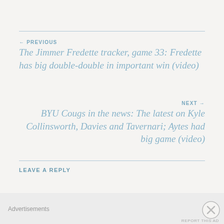← PREVIOUS
The Jimmer Fredette tracker, game 33: Fredette has big double-double in important win (video)
NEXT →
BYU Cougs in the news: The latest on Kyle Collinsworth, Davies and Tavernari; Aytes had big game (video)
LEAVE A REPLY
Your email address will not be published. Required fields
Advertisements